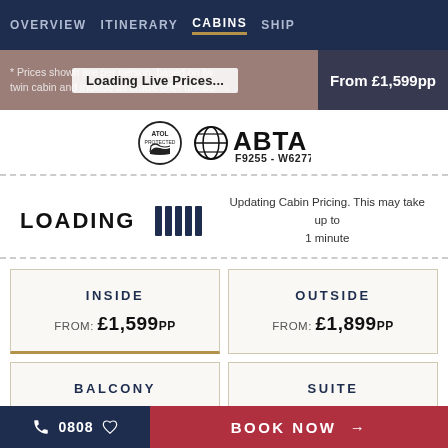OVERVIEW  ITINERARY  CABINS  SHIP
* Prices shown are per person, based on twin cabin and include all cruise offer discounts
Loading Live Prices...
From £1,599pp
[Figure (logo): ATOL protected logo (circle) and ABTA logo with globe icon, F9255 - W6277]
LOADING   Updating Cabin Pricing. This may take up to 1 minute
| Cabin Type | Price |
| --- | --- |
| INSIDE | FROM: £1,599pp |
| OUTSIDE | FROM: £1,899pp |
| BALCONY | FROM: £2,299 |
| SUITE | FROM: £3,599 |
0808  BOOK NOW →